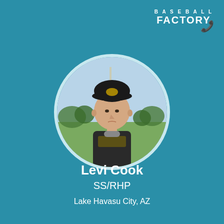[Figure (logo): Baseball Factory logo with phone icon, white text on teal background, top right corner]
[Figure (photo): Circular portrait photo of Levi Cook wearing a dark baseball jersey and black cap with gold lettering, standing on a baseball field]
Levi Cook
SS/RHP
Lake Havasu City, AZ